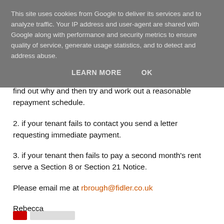This site uses cookies from Google to deliver its services and to analyze traffic. Your IP address and user-agent are shared with Google along with performance and security metrics to ensure quality of service, generate usage statistics, and to detect and address abuse.
LEARN MORE    OK
find out why and then try and work out a reasonable repayment schedule.
2. if your tenant fails to contact you send a letter requesting immediate payment.
3. if your tenant then fails to pay a second month's rent serve a Section 8 or Section 21 Notice.
Please email me at rbrough@fidler.co.uk
Rebecca